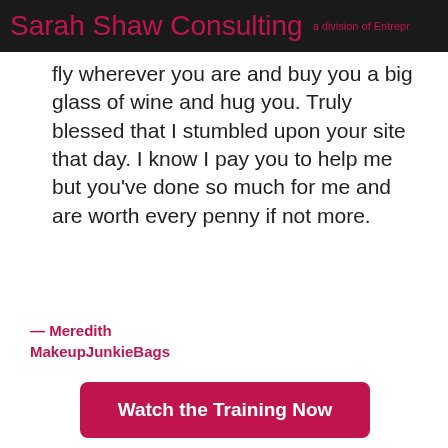Sarah Shaw Consulting a division of Entrepr...
fly wherever you are and buy you a big glass of wine and hug you. Truly blessed that I stumbled upon your site that day. I know I pay you to help me but you've done so much for me and are worth every penny if not more.
— Meredith
MakeupJunkieBags
Watch the Training Now
[Figure (photo): Bottom portion of a photo showing a person, partially visible]